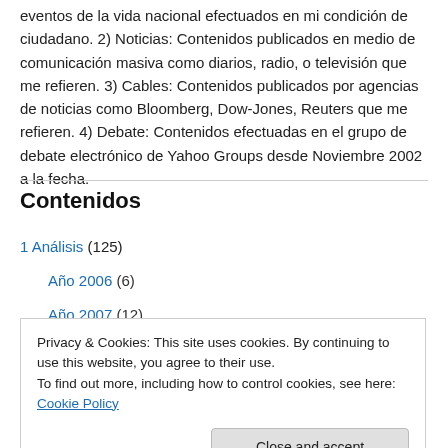eventos de la vida nacional efectuados en mi condición de ciudadano. 2) Noticias: Contenidos publicados en medio de comunicación masiva como diarios, radio, o televisión que me refieren. 3) Cables: Contenidos publicados por agencias de noticias como Bloomberg, Dow-Jones, Reuters que me refieren. 4) Debate: Contenidos efectuadas en el grupo de debate electrónico de Yahoo Groups desde Noviembre 2002 a la fecha.
Contenidos
1 Análisis (125)
Año 2006 (6)
Año 2007 (12)
Privacy & Cookies: This site uses cookies. By continuing to use this website, you agree to their use.
To find out more, including how to control cookies, see here: Cookie Policy
Close and accept
34 – Abril (11)